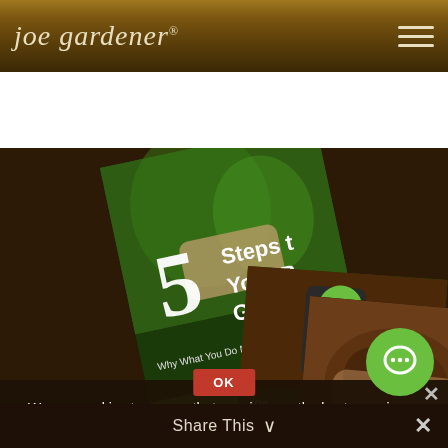joe gardener®
[Figure (screenshot): Three overlapping book covers on dark brown background: '5 Steps to Your Best Garden - Why What You Do Now...' by Joe La..., 'joe gardener - The Best of the Must-Have Resource Guide' with green boot logo, and 'The Complete Guide to Home Composting' showing hands holding compost]
We use cookies to ensure that we give you the best experience on our website. If you continue to use this site we will assume that you are happy with that.
Share This ∨